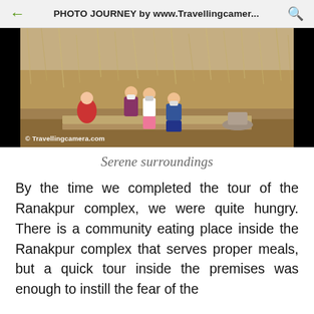PHOTO JOURNEY by www.Travellingcamer...
[Figure (photo): Group of children/people sitting outdoors with dry grass/field in the background. Watermark reads '© Travellingcamera.com']
Serene surroundings
By the time we completed the tour of the Ranakpur complex, we were quite hungry. There is a community eating place inside the Ranakpur complex that serves proper meals, but a quick tour inside the premises was enough to instill the fear of the